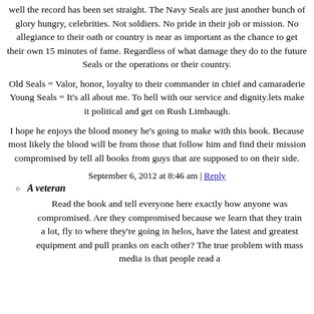well the record has been set straight. The Navy Seals are just another bunch of glory hungry, celebrities. Not soldiers. No pride in their job or mission. No allegiance to their oath or country is near as important as the chance to get their own 15 minutes of fame. Regardless of what damage they do to the future Seals or the operations or their country.
Old Seals = Valor, honor, loyalty to their commander in chief and camaraderie
Young Seals = It's all about me. To hell with our service and dignity.lets make it political and get on Rush Limbaugh.
I hope he enjoys the blood money he's going to make with this book. Because most likely the blood will be from those that follow him and find their mission compromised by tell all books from guys that are supposed to on their side.
September 6, 2012 at 8:46 am | Reply
A veteran
Read the book and tell everyone here exactly how anyone was compromised. Are they compromised because we learn that they train a lot, fly to where they're going in helos, have the latest and greatest equipment and pull pranks on each other? The true problem with mass media is that people read a